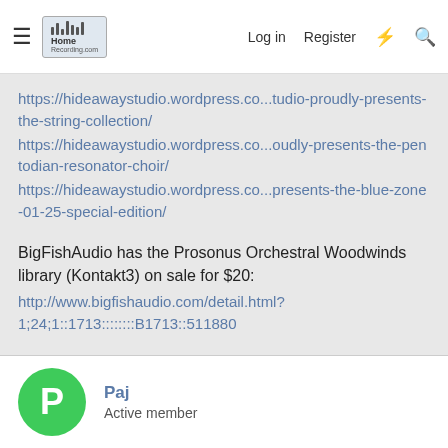HomeRecording.com — Log in  Register
https://hideawaystudio.wordpress.co...tudio-proudly-presents-the-string-collection/
https://hideawaystudio.wordpress.co...oudly-presents-the-pentodian-resonator-choir/
https://hideawaystudio.wordpress.co...presents-the-blue-zone-01-25-special-edition/
BigFishAudio has the Prosonus Orchestral Woodwinds library (Kontakt3) on sale for $20:
http://www.bigfishaudio.com/detail.html?1;24;1::1713::::::::B1713::511880
Paj
8^)
Paj
Active member